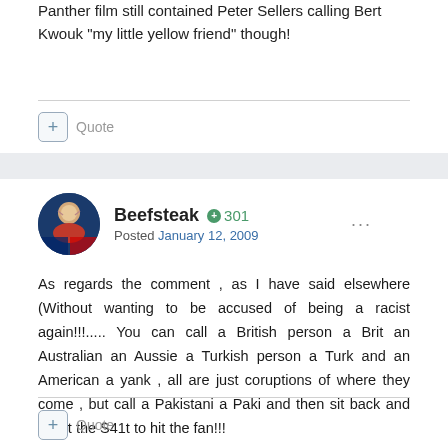Panther film still contained Peter Sellers calling Bert Kwouk "my little yellow friend" though!
Beefsteak +301 Posted January 12, 2009
As regards the comment , as I have said elsewhere (Without wanting to be accused of being a racist again!!!..... You can call a British person a Brit an Australian an Aussie a Turkish person a Turk and an American a yank , all are just coruptions of where they come , but call a Pakistani a Paki and then sit back and await the S41t to hit the fan!!!